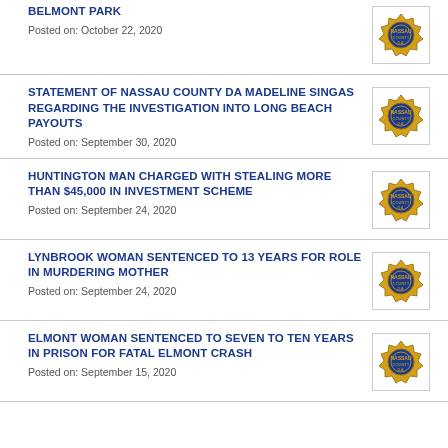BELMONT PARK
Posted on: October 22, 2020
STATEMENT OF NASSAU COUNTY DA MADELINE SINGAS REGARDING THE INVESTIGATION INTO LONG BEACH PAYOUTS
Posted on: September 30, 2020
HUNTINGTON MAN CHARGED WITH STEALING MORE THAN $45,000 IN INVESTMENT SCHEME
Posted on: September 24, 2020
LYNBROOK WOMAN SENTENCED TO 13 YEARS FOR ROLE IN MURDERING MOTHER
Posted on: September 24, 2020
ELMONT WOMAN SENTENCED TO SEVEN TO TEN YEARS IN PRISON FOR FATAL ELMONT CRASH
Posted on: September 15, 2020